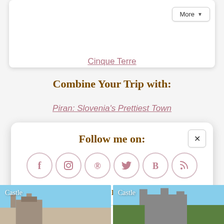More ▼
Cinque Terre
Combine Your Trip with:
Piran: Slovenia's Prettiest Town
Follow me on:
[Figure (infographic): Six social media icons in circles: Facebook (f), Instagram (camera), Pinterest (P), Twitter (bird), Bloglovin (B), RSS feed]
Or sign up to my newsletter
Subscribe  Sign Up!
[Figure (photo): Two castle travel blog thumbnail images side by side with 'Castle' text overlay]